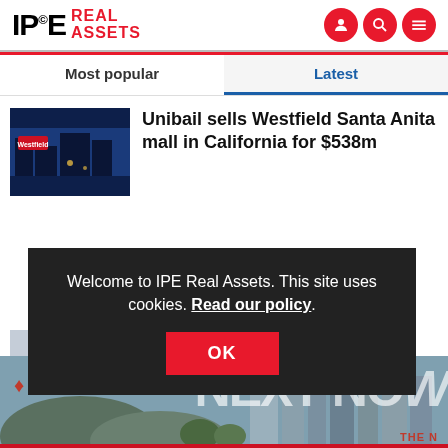IPE Real Assets
Most popular
Latest
Unibail sells Westfield Santa Anita mall in California for $538m
Welcome to IPE Real Assets. This site uses cookies. Read our policy.
OK
[Figure (photo): Patrizia NEXT NOW advertisement banner with cityscape]